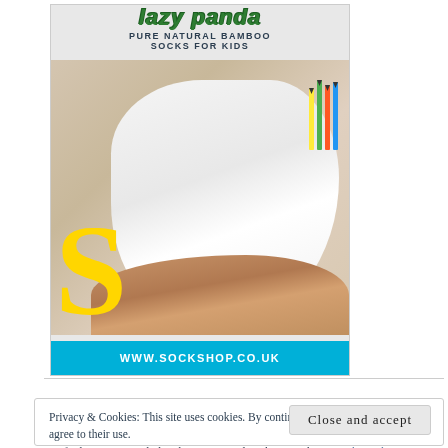[Figure (illustration): Advertisement for lazy panda Pure Natural Bamboo Socks for Kids. Shows a child wearing white socks with an adult's hand holding the foot. Large yellow S letter on the left side. Website URL www.sockshop.co.uk in cyan bar at bottom.]
Privacy & Cookies: This site uses cookies. By continuing to use this website, you agree to their use.
To find out more, including how to control cookies, see here: Cookie Policy